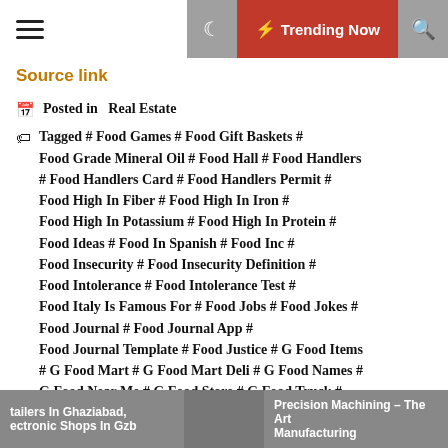☰  ☾ ⚡ Trending Now 🔍
Source link
Posted in  Real Estate
Tagged # Food Games # Food Gift Baskets # Food Grade Mineral Oil # Food Hall # Food Handlers # Food Handlers Card # Food Handlers Permit # Food High In Fiber # Food High In Iron # Food High In Potassium # Food High In Protein # Food Ideas # Food In Spanish # Food Inc # Food Insecurity # Food Insecurity Definition # Food Intolerance # Food Intolerance Test # Food Italy Is Famous For # Food Jobs # Food Jokes # Food Journal # Food Journal App # Food Journal Template # Food Justice # G Food Items # G Food Mart # G Food Mart Deli # G Food Names # G Food Near Me # G Food Store # G Food Truck # G Food... # H Food Farm... # H Food Items...
tailers In Ghaziabad, ectronic Shops In Gzb  |  Precision Machining – The Art Manufacturing